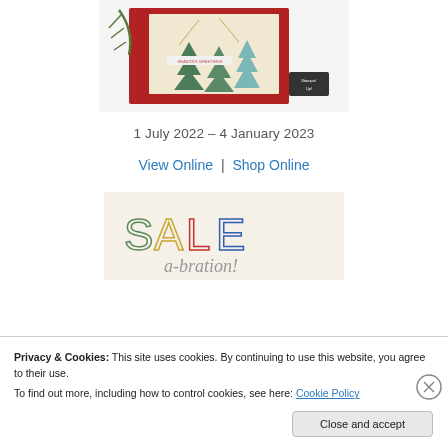[Figure (photo): Christmas crafting catalog cover image showing Christmas trees on cards with seasonal decorations and 'Season's Greetings' text and Stampin' Up! logo]
1 July 2022 – 4 January 2023
View Online | Shop Online
[Figure (illustration): Sale-a-bration promotional banner with colorful 'SALE a-bration!' text in green, yellow, red, and blue on a cream background]
Privacy & Cookies: This site uses cookies. By continuing to use this website, you agree to their use.
To find out more, including how to control cookies, see here: Cookie Policy
Close and accept